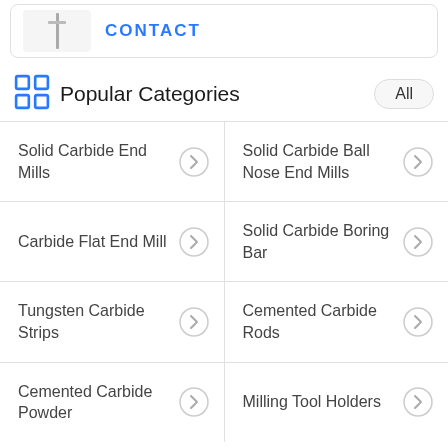[Figure (screenshot): Top card showing a tool image on the left and CONTACT text in blue on the right]
Popular Categories
| Solid Carbide End Mills | Solid Carbide Ball Nose End Mills |
| Carbide Flat End Mill | Solid Carbide Boring Bar |
| Tungsten Carbide Strips | Cemented Carbide Rods |
| Cemented Carbide Powder | Milling Tool Holders |